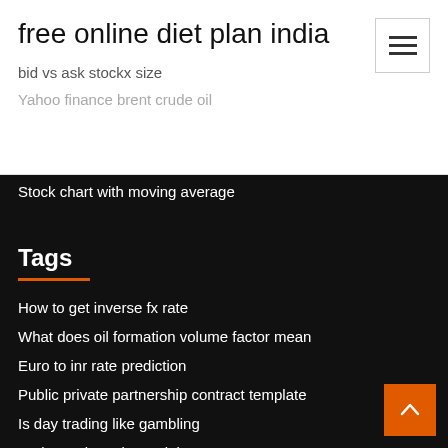free online diet plan india
bid vs ask stockx size
Yahoo finance brent crude oil
Stock chart with moving average
Tags
How to get inverse fx rate
What does oil formation volume factor mean
Euro to inr rate prediction
Public private partnership contract template
Is day trading like gambling
Tesla stock analyst opinion